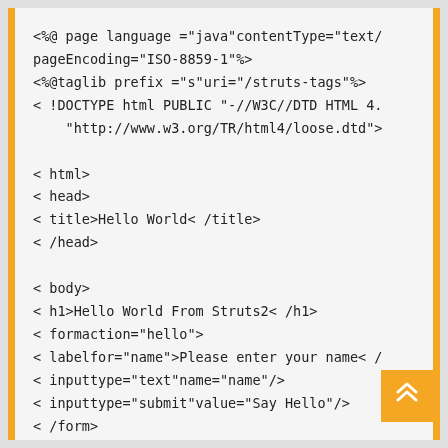<%@ page language ="java"contentType="text/
pageEncoding="ISO-8859-1"%>
<%@taglib prefix ="s"uri="/struts-tags"%>
< !DOCTYPE html PUBLIC "-//W3C//DTD HTML 4.
    "http://www.w3.org/TR/html4/loose.dtd">

< html>
< head>
< title>Hello World< /title>
< /head>

< body>
< h1>Hello World From Struts2< /h1>
< formaction="hello">
< labelfor="name">Please enter your name< /
< inputtype="text"name="name"/>
< inputtype="submit"value="Say Hello"/>
< /form>
< /body>
< /html>